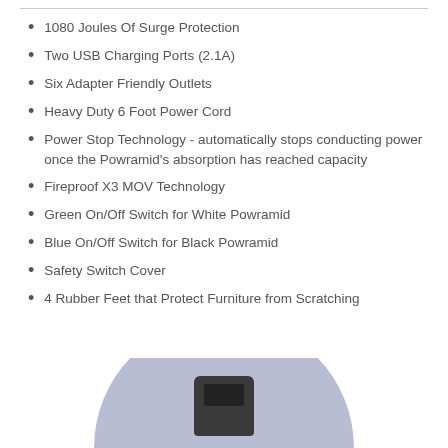1080 Joules Of Surge Protection
Two USB Charging Ports (2.1A)
Six Adapter Friendly Outlets
Heavy Duty 6 Foot Power Cord
Power Stop Technology - automatically stops conducting power once the Powramid's absorption has reached capacity
Fireproof X3 MOV Technology
Green On/Off Switch for White Powramid
Blue On/Off Switch for Black Powramid
Safety Switch Cover
4 Rubber Feet that Protect Furniture from Scratching
[Figure (photo): Product image of Powramid surge protector shown from above against a circular light blue-gray background]